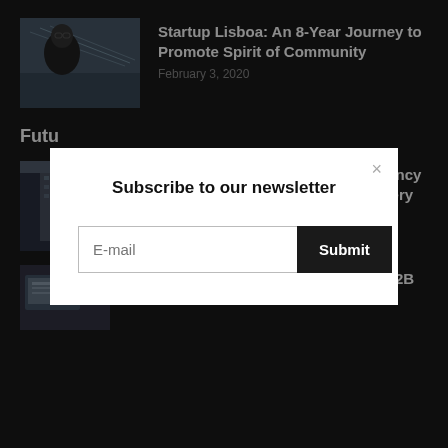[Figure (photo): Thumbnail photo of a man with glasses with a bridge in the background]
Startup Lisboa: An 8-Year Journey to Promote Spirit of Community
February 3, 2020
Futu
[Figure (photo): Thumbnail photo of a tall modern building]
Lisbon's Short-Term Rentals: Occupancy Plummets, But Some Signs of Recovery
Via News Editorial Team - November 6, 2020
Digital Is the Wave of the Future for B2B
Subscribe to our newsletter
E-mail
Submit